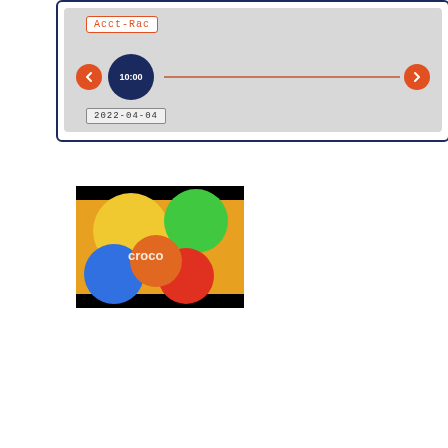[Figure (screenshot): A UI widget showing a timeline with 'Acct-Rac' label in orange border, a dark blue circle with '10:00', navigation arrows in orange, a horizontal orange line, and a date badge '2022-04-04' at the bottom left.]
[Figure (photo): A thumbnail image showing colorful balloons with 'croco' text watermark. Black bars at top and bottom. Balloons in yellow, green, blue, red, orange colors.]
Please, Select Form To Show
[Figure (other): A lime/yellow-green colored bar at the bottom of the page, partially visible.]